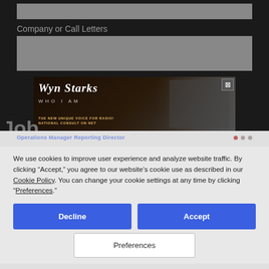Company or Call Letters
[Figure (screenshot): Advertisement banner for Wyn Starks 'Who I Am' - shows artist name in stylized font with tagline 'The New Unique Voice for Radio! National Consult on Net', with a photo of a man in striped shirt, and a close button (X) in top right corner]
We use cookies to improve user experience and analyze website traffic. By clicking “Accept,” you agree to our website's cookie use as described in our Cookie Policy. You can change your cookie settings at any time by clicking “Preferences.”
Decline
Accept
Preferences
Digital Media Strategist (FT)- Bonneville Seattle